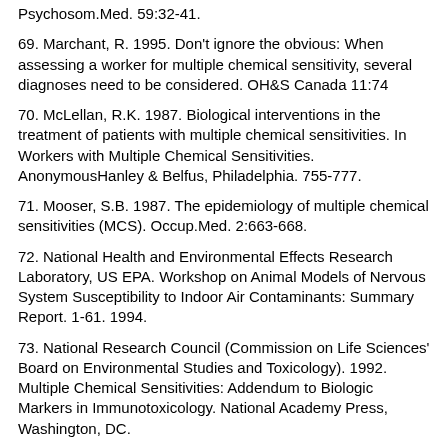Psychosom.Med. 59:32-41.
69. Marchant, R. 1995. Don't ignore the obvious: When assessing a worker for multiple chemical sensitivity, several diagnoses need to be considered. OH&S Canada 11:74
70. McLellan, R.K. 1987. Biological interventions in the treatment of patients with multiple chemical sensitivities. In Workers with Multiple Chemical Sensitivities. AnonymousHanley & Belfus, Philadelphia. 755-777.
71. Mooser, S.B. 1987. The epidemiology of multiple chemical sensitivities (MCS). Occup.Med. 2:663-668.
72. National Health and Environmental Effects Research Laboratory, US EPA. Workshop on Animal Models of Nervous System Susceptibility to Indoor Air Contaminants: Summary Report. 1-61. 1994.
73. National Research Council (Commission on Life Sciences' Board on Environmental Studies and Toxicology). 1992. Multiple Chemical Sensitivities: Addendum to Biologic Markers in Immunotoxicology. National Academy Press, Washington, DC.
74. Nethercott, J.R., L.L. Davidoff, R. Curbow, and H.